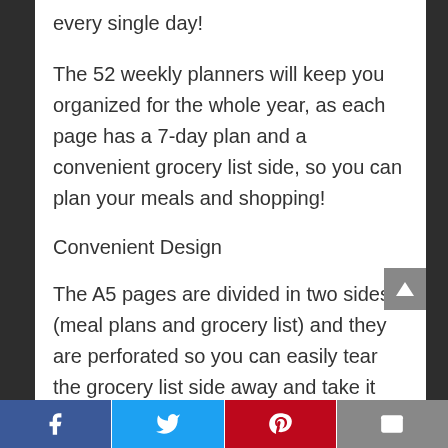every single day!
The 52 weekly planners will keep you organized for the whole year, as each page has a 7-day plan and a convenient grocery list side, so you can plan your meals and shopping!
Convenient Design
The A5 pages are divided in two sides (meal plans and grocery list) and they are perforated so you can easily tear the grocery list side away and take it with you at the